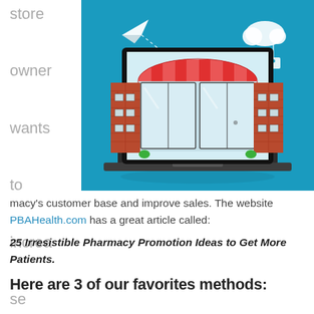store owner wants to increase their pharmacy's
[Figure (illustration): Colorful flat-style illustration on a teal/blue background showing a laptop computer with a red-and-white striped awning storefront facade on its screen, brick buildings on either side, a paper airplane flying in the upper left, a cloud with a price tag on the upper right, and a ground shadow beneath the laptop.]
macy's customer base and improve sales. The website PBAHealth.com has a great article called:
25 Irresistible Pharmacy Promotion Ideas to Get More Patients.
Here are 3 of our favorites methods: